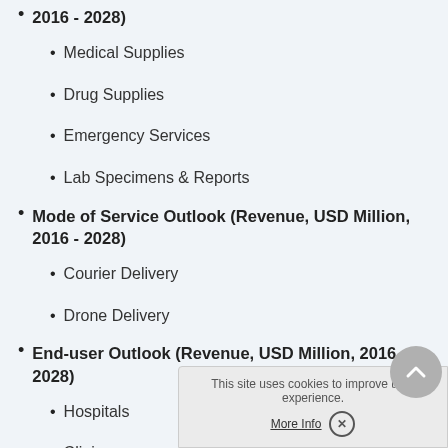2016 - 2028) [bold, partial/continuation]
Medical Supplies
Drug Supplies
Emergency Services
Lab Specimens & Reports
Mode of Service Outlook (Revenue, USD Million, 2016 - 2028)
Courier Delivery
Drone Delivery
End-user Outlook (Revenue, USD Million, 2016 - 2028)
Hospitals
Clinics
Laboratories